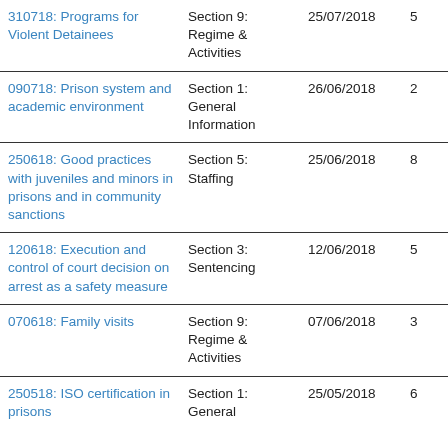| Title | Section | Date | N |  |
| --- | --- | --- | --- | --- |
| 310718: Programs for Violent Detainees | Section 9: Regime & Activities | 25/07/2018 | 5 |  |
| 090718: Prison system and academic environment | Section 1: General Information | 26/06/2018 | 2 |  |
| 250618: Good practices with juveniles and minors in prisons and in community sanctions | Section 5: Staffing | 25/06/2018 | 8 |  |
| 120618: Execution and control of court decision on arrest as a safety measure | Section 3: Sentencing | 12/06/2018 | 5 |  |
| 070618: Family visits | Section 9: Regime & Activities | 07/06/2018 | 3 |  |
| 250518: ISO certification in prisons | Section 1: General | 25/05/2018 | 6 |  |